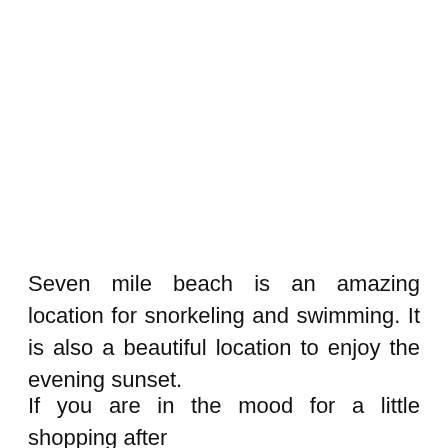Seven mile beach is an amazing location for snorkeling and swimming. It is also a beautiful location to enjoy the evening sunset.
If you are in the mood for a little shopping after